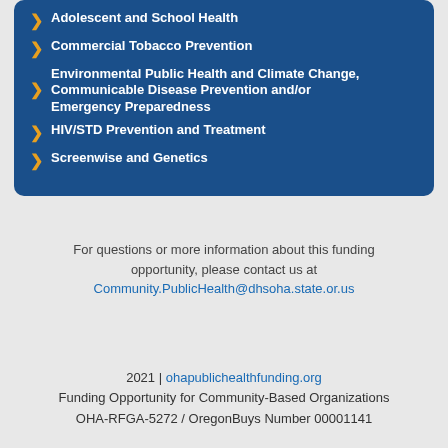Adolescent and School Health
Commercial Tobacco Prevention
Environmental Public Health and Climate Change, Communicable Disease Prevention and/or Emergency Preparedness
HIV/STD Prevention and Treatment
Screenwise and Genetics
For questions or more information about this funding opportunity, please contact us at Community.PublicHealth@dhsoha.state.or.us
2021 | ohapublichealthfunding.org
Funding Opportunity for Community-Based Organizations
OHA-RFGA-5272 / OregonBuys Number 00001141